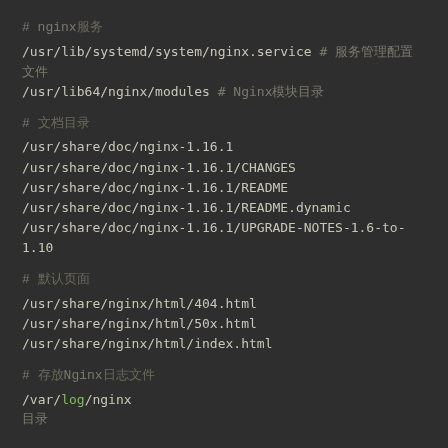# nginx服务
/usr/lib/systemd/system/nginx.service # 服务管理配置文件
/usr/lib64/nginx/modules # Nginx模块目录
# 文档目录
/usr/share/doc/nginx-1.16.1
/usr/share/doc/nginx-1.16.1/CHANGES
/usr/share/doc/nginx-1.16.1/README
/usr/share/doc/nginx-1.16.1/README.dynamic
/usr/share/doc/nginx-1.16.1/UPGRADE-NOTES-1.6-to-1.10
# 默认页面
/usr/share/nginx/html/404.html
/usr/share/nginx/html/50x.html
/usr/share/nginx/html/index.html
# 存放Nginx日志文件
/var/log/nginx
目录